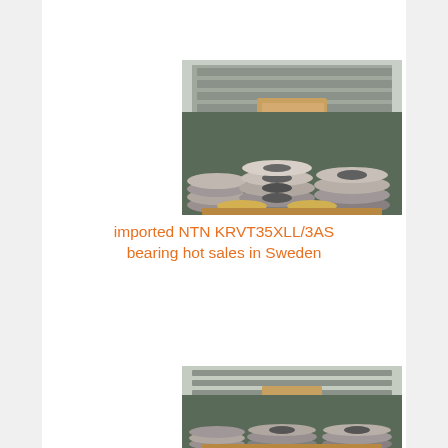[Figure (photo): Warehouse photo showing stacks of industrial bearings (NTN KRVT35XLL/3AS) arranged on wooden pallets and shelves in a large storage facility. Metal bearings stacked in rows, with more shelving visible in background.]
imported NTN KRVT35XLL/3AS bearing hot sales in Sweden
[Figure (photo): Second photo (partially visible) of the same warehouse showing stacks of industrial bearings on pallets, similar to the first image.]